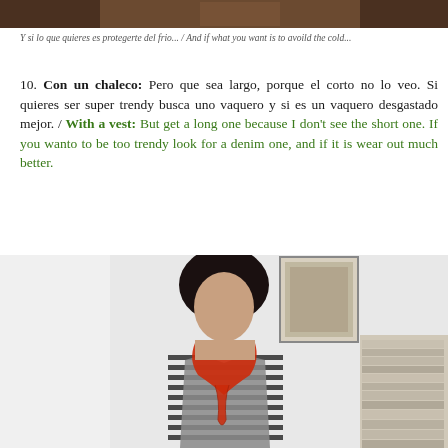[Figure (photo): Top portion of a photo showing clothing/fashion, cropped at bottom of image]
Y si lo que quieres es protegerte del frio... / And if what you want is to avoild the cold...
10. Con un chaleco: Pero que sea largo, porque el corto no lo veo. Si quieres ser super trendy busca uno vaquero y si es un vaquero desgastado mejor. / With a vest: But get a long one because I don't see the short one. If you wanto to be too trendy look for a denim one, and if it is wear out much better.
[Figure (photo): Woman with dark hair wearing a striped shirt, gray vest, and bright red scarf, standing in a room with a framed picture and stacked magazines]